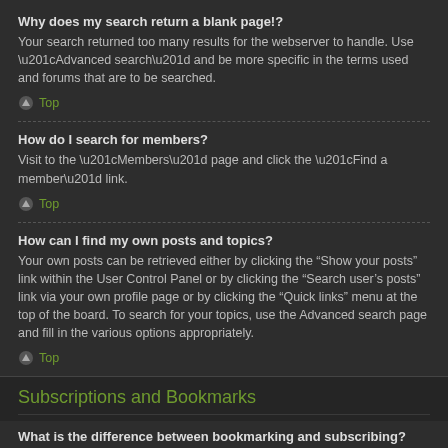Why does my search return a blank page!?
Your search returned too many results for the webserver to handle. Use “Advanced search” and be more specific in the terms used and forums that are to be searched.
Top
How do I search for members?
Visit to the “Members” page and click the “Find a member” link.
Top
How can I find my own posts and topics?
Your own posts can be retrieved either by clicking the “Show your posts” link within the User Control Panel or by clicking the “Search user’s posts” link via your own profile page or by clicking the “Quick links” menu at the top of the board. To search for your topics, use the Advanced search page and fill in the various options appropriately.
Top
Subscriptions and Bookmarks
What is the difference between bookmarking and subscribing?
In phpBB 3.0, bookmarking topics worked much like bookmarking in a web